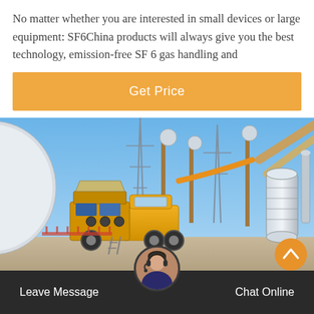No matter whether you are interested in small devices or large equipment: SF6China products will always give you the best technology, emission-free SF 6 gas handling and
[Figure (other): Orange 'Get Price' button on white background]
[Figure (photo): Photo of a yellow service truck with SF6 gas handling equipment at an electrical substation, with large power transformers and transmission towers visible in the background under a blue sky.]
Leave Message    Chat Online